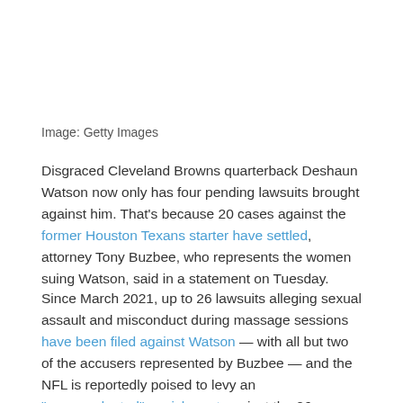Image: Getty Images
Disgraced Cleveland Browns quarterback Deshaun Watson now only has four pending lawsuits brought against him. That’s because 20 cases against the former Houston Texans starter have settled, attorney Tony Buzbee, who represents the women suing Watson, said in a statement on Tuesday.
Since March 2021, up to 26 lawsuits alleging sexual assault and misconduct during massage sessions have been filed against Watson — with all but two of the accusers represented by Buzbee — and the NFL is reportedly poised to levy an “unprecedented” punishment against the 26-year-old.